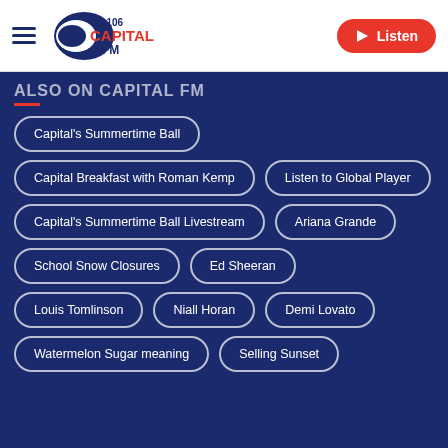[Figure (logo): Capital FM 95-106 radio logo with blue and white design]
ALSO ON CAPITAL FM
Capital's Summertime Ball
Capital Breakfast with Roman Kemp
Listen to Global Player
Capital's Summertime Ball Livestream
Ariana Grande
School Snow Closures
Ed Sheeran
Louis Tomlinson
Niall Horan
Demi Lovato
Watermelon Sugar meaning
Selling Sunset